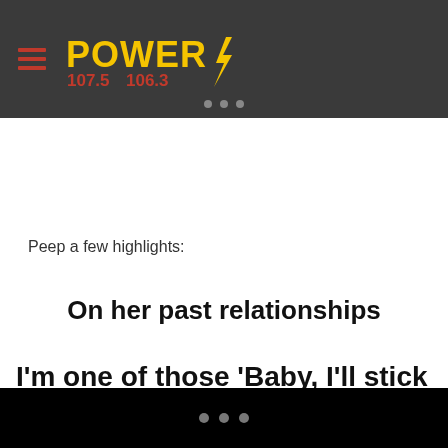POWER 107.5 106.3
Peep a few highlights:
On her past relationships
I'm one of those 'Baby, I'll stick with you. I think you have potential and let's be on this